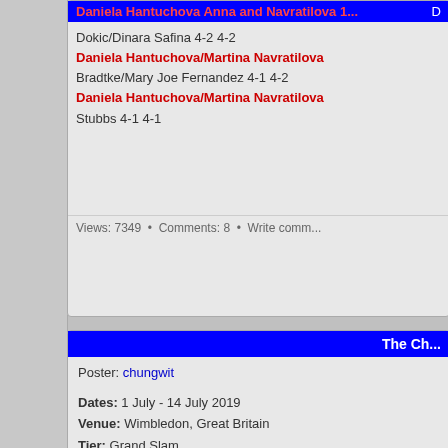Dokic/Dinara Safina 4-2 4-2
Daniela Hantuchova/Martina Navratilova
Bradtke/Mary Joe Fernandez 4-1 4-2
Daniela Hantuchova/Martina Navratilova
Stubbs 4-1 4-1
Views: 7349 • Comments: 8 • Write comm...
The Ch...
Poster: chungwit
Dates: 1 July - 14 July 2019
Venue: Wimbledon, Great Britain
Tier: Grand Slam
Prize Money: $22,876,979
Surface: Grass/Outdoors
Tournament Director: Richard Lewis
Official website: www.wimbledon.com
Ladies' invitational Doubles:
Kim Clijsters/Rennae Stubbs bt Daniela Ha... Bartoli 6-3 6-4
Daniela Hantuchova/Marion Bartoli bt Tra...
Daniela Hantuchova/Marion Bartoli bt Co...
Final: Cara Black/Martina Navratilova bt Da...
Views: 9100 • Comments: 9 • Write comm...
Ch...